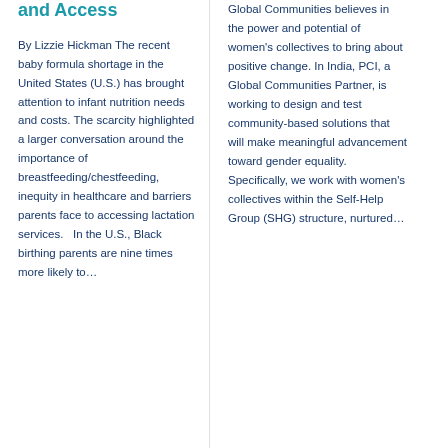and Access
By Lizzie Hickman The recent baby formula shortage in the United States (U.S.) has brought attention to infant nutrition needs and costs. The scarcity highlighted a larger conversation around the importance of breastfeeding/chestfeeding, inequity in healthcare and barriers parents face to accessing lactation services.   In the U.S., Black birthing parents are nine times more likely to…
Global Communities believes in the power and potential of women's collectives to bring about positive change. In India, PCI, a Global Communities Partner, is working to design and test community-based solutions that will make meaningful advancement toward gender equality. Specifically, we work with women's collectives within the Self-Help Group (SHG) structure, nurtured…